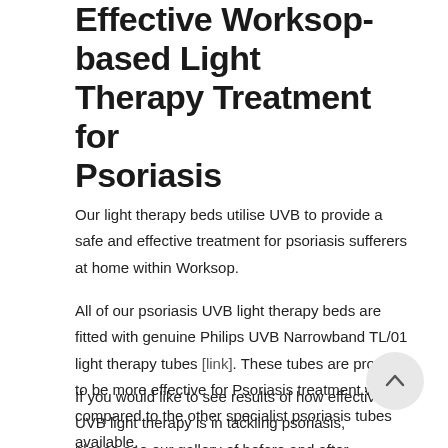Effective Worksop-based Light Therapy Treatment for Psoriasis
Our light therapy beds utilise UVB to provide a safe and effective treatment for psoriasis sufferers at home within Worksop.
All of our psoriasis UVB light therapy beds are fitted with genuine Philips UVB Narrowband TL/01 light therapy tubes [link]. These tubes are proven to be more effective for Psoriasis treatment when compared to the other specialist psoriasis tubes available.
If you would like to see results of how effective UVB light therapy is in tackling psoriasis, please see our gallery of before and after shots [link]